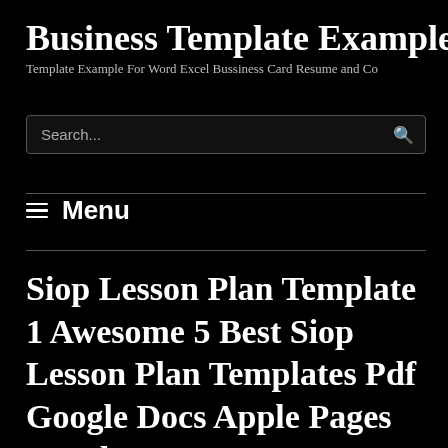Business Template Example
Template Example For Word Excel Bussiness Card Resume and Co
Search...
☰ Menu
Siop Lesson Plan Template 1 Awesome 5 Best Siop Lesson Plan Templates Pdf Google Docs Apple Pages Word